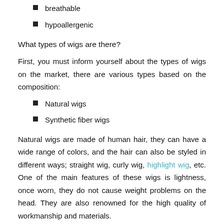breathable
hypoallergenic
What types of wigs are there?
First, you must inform yourself about the types of wigs on the market, there are various types based on the composition:
Natural wigs
Synthetic fiber wigs
Natural wigs are made of human hair, they can have a wide range of colors, and the hair can also be styled in different ways; straight wig, curly wig, highlight wig, etc. One of the main features of these wigs is lightness, once worn, they do not cause weight problems on the head. They are also renowned for the high quality of workmanship and materials.